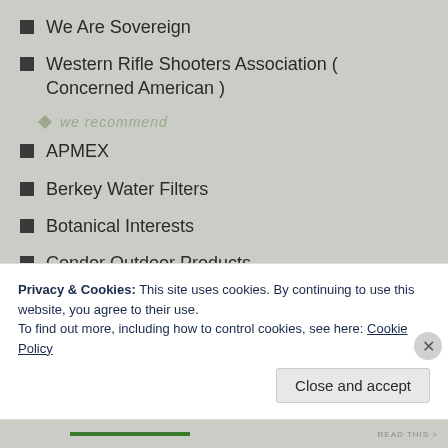We Are Sovereign
Western Rifle Shooters Association ( Concerned American )
we recommend
APMEX
Berkey Water Filters
Botanical Interests
Condor Outdoor Products
Dare To Prepare
Fortress All Weather Gear
Gerber Gear
Privacy & Cookies: This site uses cookies. By continuing to use this website, you agree to their use. To find out more, including how to control cookies, see here: Cookie Policy
Close and accept